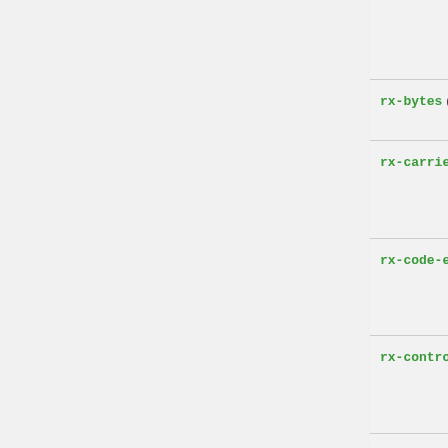| Parameter | Description |
| --- | --- |
| (truncated top row) | received broadcast frames |
| rx-bytes (integer) | Total count of received b... |
| rx-carrier-error (integer) | Total count of events where carrier sense error occu... |
| rx-code-error (integer) | Total count of received frames with code erro... |
| rx-control (integer) | Total count of received control or pause fra... |
| rx-error-events (integer) | Total count of received frames wi... |